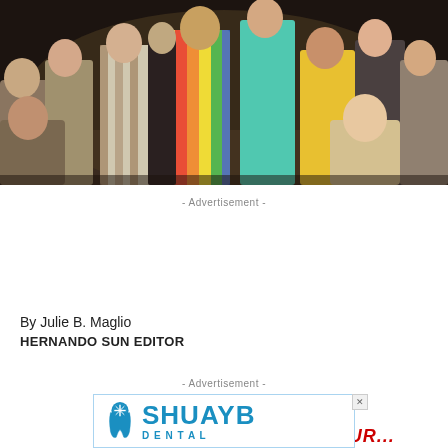[Figure (photo): Children in colorful costumes performing on stage in a theatrical production. Multiple children are visible, some kneeling and some standing, wearing various costumes including striped and solid colors.]
- Advertisement -
[Figure (infographic): Advertisement banner showing 'SUBMIT YOUR...' in red italic text above large bold black text 'NEW BIZ ON THI' (cut off)]
By Julie B. Maglio
HERNANDO SUN EDITOR
- Advertisement -
[Figure (logo): SHUAYB dental advertisement with tooth logo icon and blue text 'SHUAYB' with 'DENTAL' below, enclosed in a light blue bordered rectangle with an X close button.]